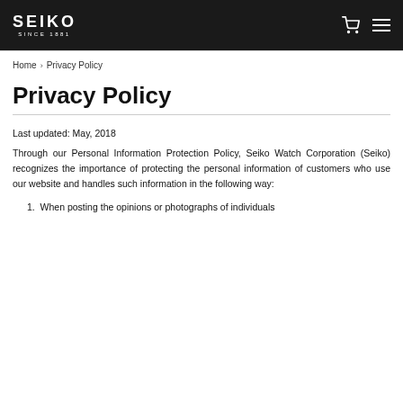SEIKO SINCE 1881
Home > Privacy Policy
Privacy Policy
Last updated: May, 2018
Through our Personal Information Protection Policy, Seiko Watch Corporation (Seiko) recognizes the importance of protecting the personal information of customers who use our website and handles such information in the following way:
1.  When posting the opinions or photographs of individuals